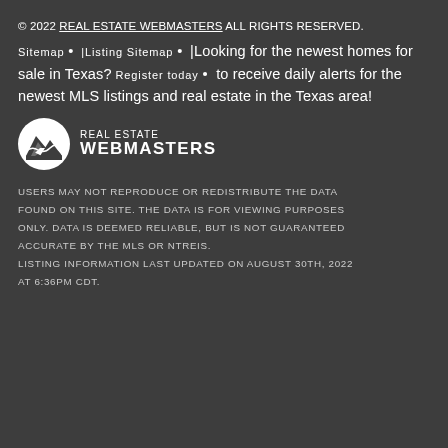© 2022 REAL ESTATE WEBMASTERS ALL RIGHTS RESERVED.
Sitemap • | Listing Sitemap • | Looking for the newest homes for sale in Texas? Register today • to receive daily alerts for the newest MLS listings and real estate in the Texas area!
[Figure (logo): Real Estate Webmasters logo with mountain/wave icon on dark background]
USERS MAY NOT REPRODUCE OR REDISTRIBUTE THE DATA FOUND ON THIS SITE. THE DATA IS FOR VIEWING PURPOSES ONLY. DATA IS DEEMED RELIABLE, BUT IS NOT GUARANTEED ACCURATE BY THE MLS OR NTREIS. LISTING INFORMATION LAST UPDATED ON AUGUST 30TH, 2022 AT 6:36PM CDT.